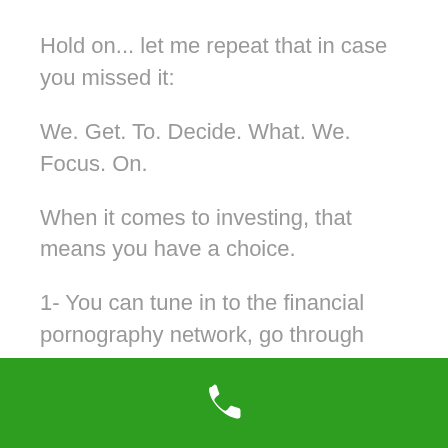Hold on... let me repeat that in case you missed it:
We. Get. To. Decide. What. We. Focus. On.
When it comes to investing, that means you have a choice.
1- You can tune in to the financial pornography network, go through endless cycles of “buy buy, sell sell,” obsess over the latest IPO, and deal with the apocalypse du jour while cycling through all the emotions that come with it.
[Figure (other): Green footer bar with a white phone/call icon]